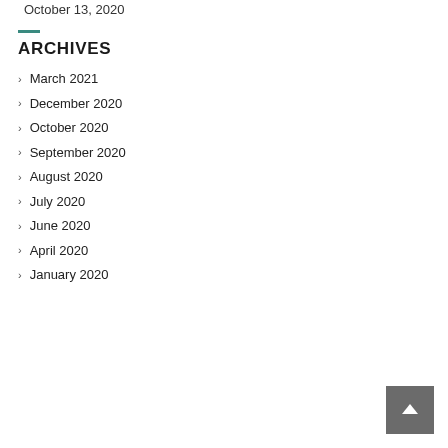October 13, 2020
ARCHIVES
March 2021
December 2020
October 2020
September 2020
August 2020
July 2020
June 2020
April 2020
January 2020